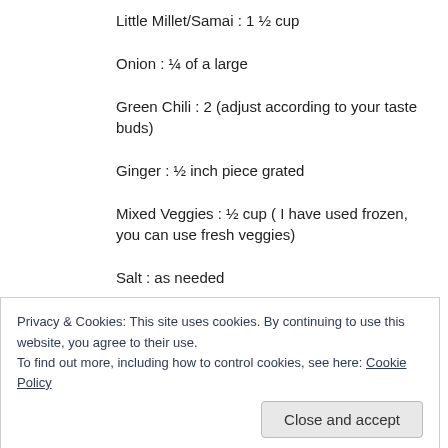Little Millet/Samai : 1 ½ cup
Onion : ¼ of a large
Green Chili : 2 (adjust according to your taste buds)
Ginger : ½ inch piece grated
Mixed Veggies : ½ cup ( I have used frozen, you can use fresh veggies)
Salt : as needed
Water : 4 1/2 cups ( 1 cup samai requires 3 cups
Privacy & Cookies: This site uses cookies. By continuing to use this website, you agree to their use. To find out more, including how to control cookies, see here: Cookie Policy
Close and accept